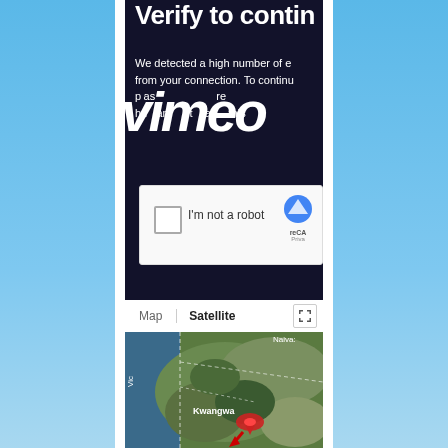[Figure (screenshot): Screenshot of a Vimeo CAPTCHA verification page overlaid with a Google Maps satellite view showing Kwangwa area, displayed on a smartphone with a blue sky/ocean background.]